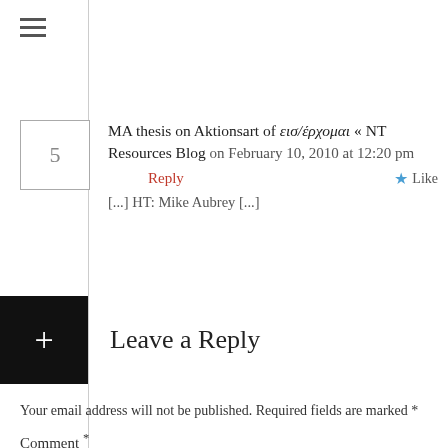≡
5
MA thesis on Aktionsart of εισ/έρχομαι « NT Resources Blog on February 10, 2010 at 12:20 pm
Reply
Like
[...] HT: Mike Aubrey [...]
Leave a Reply
Your email address will not be published. Required fields are marked *
Comment *